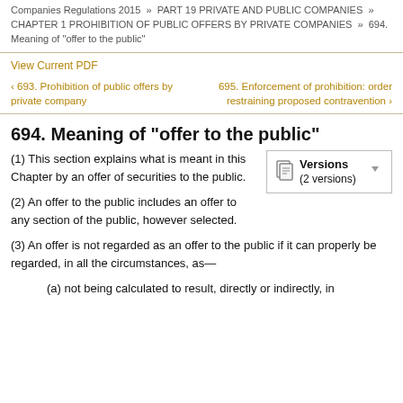Companies Regulations 2015 » PART 19 PRIVATE AND PUBLIC COMPANIES » CHAPTER 1 PROHIBITION OF PUBLIC OFFERS BY PRIVATE COMPANIES » 694. Meaning of "offer to the public"
View Current PDF
‹ 693. Prohibition of public offers by private company
695. Enforcement of prohibition: order restraining proposed contravention ›
694. Meaning of "offer to the public"
(1) This section explains what is meant in this Chapter by an offer of securities to the public.
(2) An offer to the public includes an offer to any section of the public, however selected.
(3) An offer is not regarded as an offer to the public if it can properly be regarded, in all the circumstances, as—
(a) not being calculated to result, directly or indirectly, in